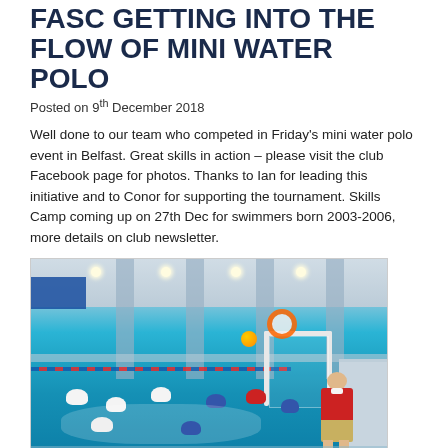FASC GETTING INTO THE FLOW OF MINI WATER POLO
Posted on 9th December 2018
Well done to our team who competed in Friday's mini water polo event in Belfast.  Great skills in action – please visit the club Facebook page for photos.  Thanks to Ian for leading this initiative and to Conor for supporting the tournament.  Skills Camp coming up on  27th Dec for swimmers born 2003-2006, more details on club newsletter.
[Figure (photo): Indoor swimming pool scene showing children playing mini water polo. Players in white caps are in the pool near a white goal post. A coach in a red shirt stands at the pool edge. A yellow/orange water polo ball is visible in the background. Blue lane ropes divide the pool.]